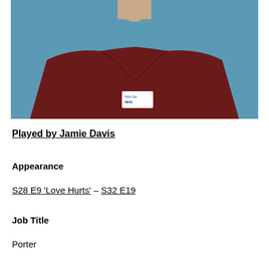[Figure (photo): A young man wearing a dark maroon/burgundy polo shirt with an NHS name badge, photographed against a light blue background. The photo is cropped from the chest up showing his face and torso.]
Played by Jamie Davis
Appearance
S28 E9 'Love Hurts' – S32 E19
Job Title
Porter